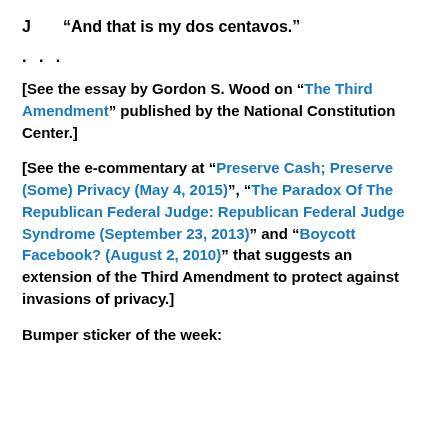J    “And that is my dos centavos.”
. . .
[See the essay by Gordon S. Wood on “The Third Amendment” published by the National Constitution Center.]
[See the e-commentary at “Preserve Cash; Preserve (Some) Privacy (May 4, 2015)”, “The Paradox Of The Republican Federal Judge: Republican Federal Judge Syndrome (September 23, 2013)” and “Boycott Facebook? (August 2, 2010)” that suggests an extension of the Third Amendment to protect against invasions of privacy.]
Bumper sticker of the week: